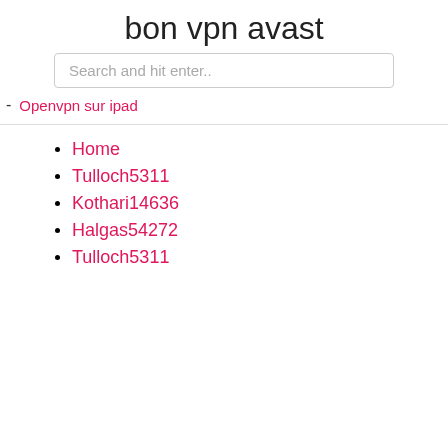bon vpn avast
Search and hit enter..
Openvpn sur ipad
Home
Tulloch5311
Kothari14636
Halgas54272
Tulloch5311